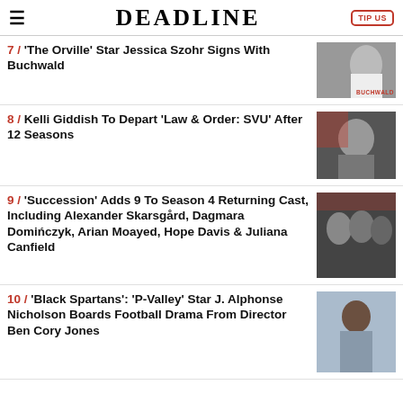DEADLINE | TIP US
7 / 'The Orville' Star Jessica Szohr Signs With Buchwald
8 / Kelli Giddish To Depart 'Law & Order: SVU' After 12 Seasons
9 / 'Succession' Adds 9 To Season 4 Returning Cast, Including Alexander Skarsgård, Dagmara Domińczyk, Arian Moayed, Hope Davis & Juliana Canfield
10 / 'Black Spartans': 'P-Valley' Star J. Alphonse Nicholson Boards Football Drama From Director Ben Cory Jones